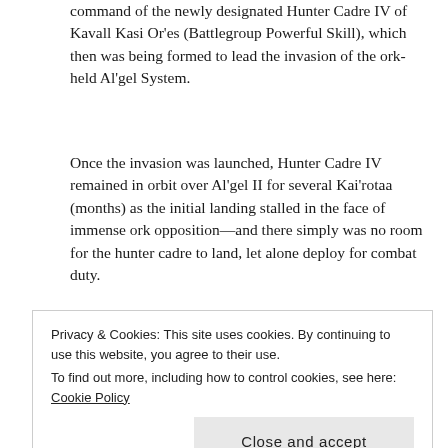command of the newly designated Hunter Cadre IV of Kavall Kasi Or'es (Battlegroup Powerful Skill), which then was being formed to lead the invasion of the ork-held Al'gel System.
Once the invasion was launched, Hunter Cadre IV remained in orbit over Al'gel II for several Kai'rotaa (months) as the initial landing stalled in the face of immense ork opposition—and there simply was no room for the hunter cadre to land, let alone deploy for combat duty.
[Figure (photo): Partial view of a miniature figure, appears to be a Tau/T'au warrior figure in green armor, cropped at bottom of page]
Privacy & Cookies: This site uses cookies. By continuing to use this website, you agree to their use.
To find out more, including how to control cookies, see here: Cookie Policy
Close and accept